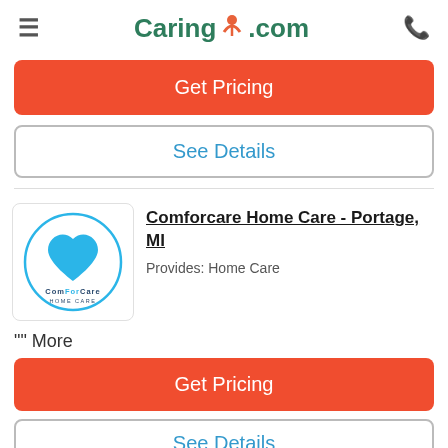≡  Caring.com  📞
Get Pricing
See Details
[Figure (logo): ComForCare Home Care logo: blue circle with blue heart inside, text 'ComForCare HOME CARE' below]
Comforcare Home Care - Portage, MI
Provides: Home Care
"" More
Get Pricing
See Details